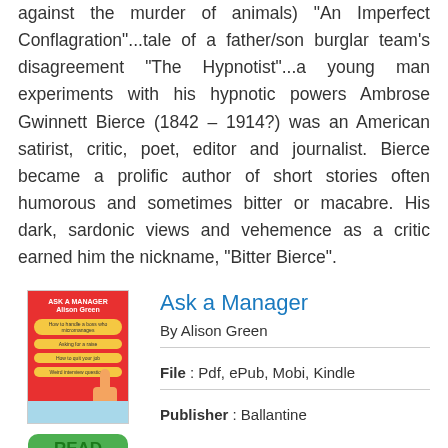against the murder of animals) "An Imperfect Conflagration"...tale of a father/son burglar team's disagreement "The Hypnotist"...a young man experiments with his hypnotic powers Ambrose Gwinnett Bierce (1842 – 1914?) was an American satirist, critic, poet, editor and journalist. Bierce became a prolific author of short stories often humorous and sometimes bitter or macabre. His dark, sardonic views and vehemence as a critic earned him the nickname, "Bitter Bierce".
[Figure (illustration): Book cover of 'Ask a Manager' by Alison Green with red background, yellow speech bubbles, and a hand illustration]
Ask a Manager
By Alison Green
File : Pdf, ePub, Mobi, Kindle
Publisher : Ballantine
[Figure (other): Green READ PDF button]